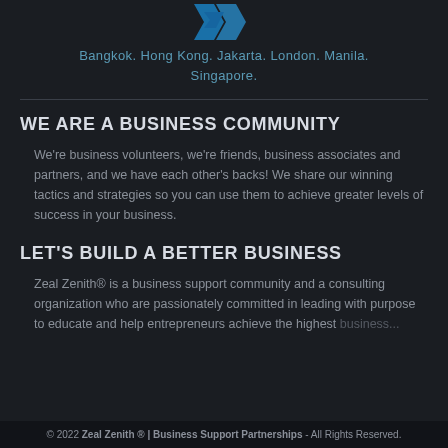[Figure (logo): Zeal Zenith blue stylized W/Z logo at top center]
Bangkok. Hong Kong. Jakarta. London. Manila. Singapore.
WE ARE A BUSINESS COMMUNITY
We're business volunteers, we're friends, business associates and partners, and we have each other's backs! We share our winning tactics and strategies so you can use them to achieve greater levels of success in your business.
LET'S BUILD A BETTER BUSINESS
Zeal Zenith® is a business support community and a consulting organization who are passionately committed in leading with purpose to educate and help entrepreneurs achieve the highest
© 2022 Zeal Zenith ® | Business Support Partnerships - All Rights Reserved.